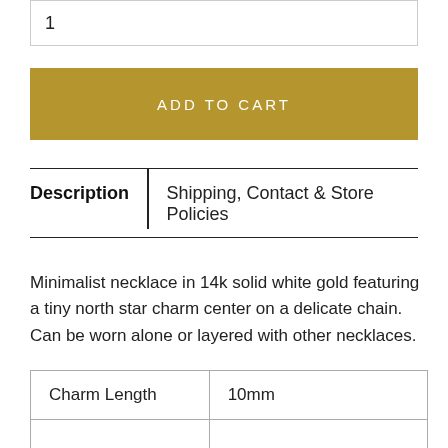1
ADD TO CART
Description
Shipping, Contact & Store Policies
Minimalist necklace in 14k solid white gold featuring a tiny north star charm center on a delicate chain. Can be worn alone or layered with other necklaces.
| Charm Length | 10mm |
| --- | --- |